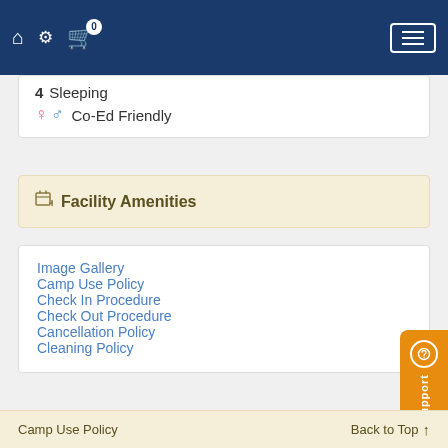Navigation bar with home, settings, cart (0), and menu icons
4  Sleeping
♀ ♂  Co-Ed Friendly
Facility Amenities
Image Gallery
Camp Use Policy
Check In Procedure
Check Out Procedure
Cancellation Policy
Cleaning Policy
Camp Use Policy     Back to Top ↑